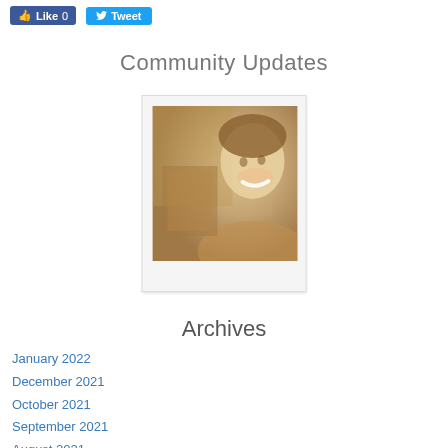[Figure (other): Facebook Like button (0 likes) and Twitter Tweet button social sharing bar]
Community Updates
[Figure (photo): Sepia-toned photo of a smiling woman holding a box or book, looking upward happily]
Archives
January 2022
December 2021
October 2021
September 2021
August 2021
July 2021